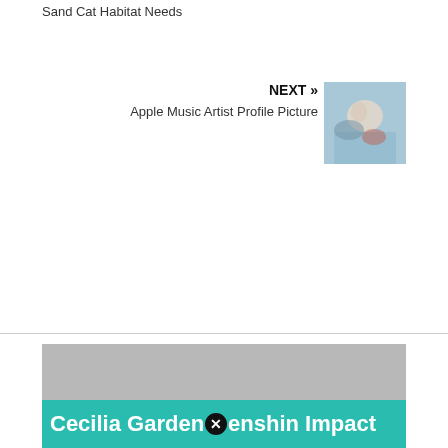Sand Cat Habitat Needs
NEXT »
Apple Music Artist Profile Picture
[Figure (photo): A photo of a person lying down, soft focus, blue and teal hues, appearing to be an artist profile picture thumbnail.]
[Figure (photo): A large light gray placeholder image area.]
Cecilia Garden Genshin Impact